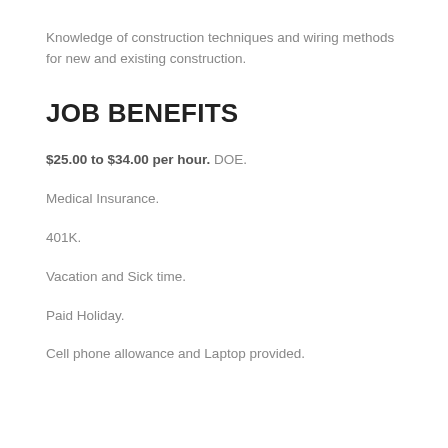Knowledge of construction techniques and wiring methods for new and existing construction.
JOB BENEFITS
$25.00 to $34.00 per hour. DOE.
Medical Insurance.
401K.
Vacation and Sick time.
Paid Holiday.
Cell phone allowance and Laptop provided.